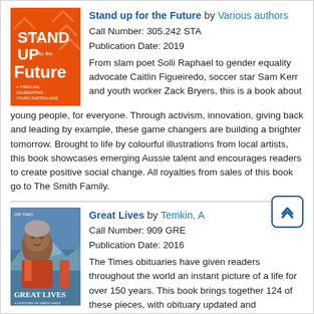[Figure (illustration): Book cover for 'Stand up for the Future' — orange background with bold white text and arrows]
Stand up for the Future by Various authors
Call Number: 305.242 STA
Publication Date: 2019
From slam poet Solli Raphael to gender equality advocate Caitlin Figueiredo, soccer star Sam Kerr and youth worker Zack Bryers, this is a book about young people, for everyone. Through activism, innovation, giving back and leading by example, these game changers are building a brighter tomorrow. Brought to life by colourful illustrations from local artists, this book showcases emerging Aussie talent and encourages readers to create positive social change. All royalties from sales of this book go to The Smith Family.
[Figure (illustration): Book cover for 'Great Lives' — photo of an elderly person with mountain background, red/orange clothing]
Great Lives by Temkin, A
Call Number: 909 GRE
Publication Date: 2016
The Times obituaries have given readers throughout the world an instant picture of a life for over 150 years. This book brings together 124 of these pieces, with obituary updated and reproduced in their entirety. The Times register provides a rich store of information